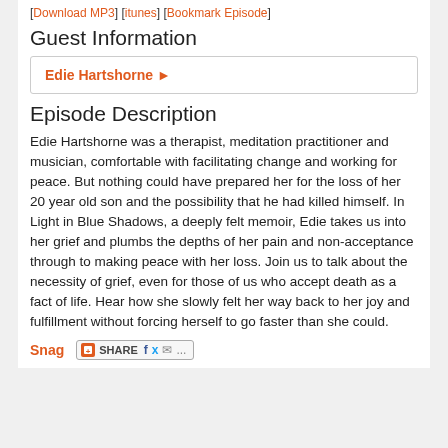[Download MP3] [itunes] [Bookmark Episode]
Guest Information
Edie Hartshorne ▶
Episode Description
Edie Hartshorne was a therapist, meditation practitioner and musician, comfortable with facilitating change and working for peace. But nothing could have prepared her for the loss of her 20 year old son and the possibility that he had killed himself. In Light in Blue Shadows, a deeply felt memoir, Edie takes us into her grief and plumbs the depths of her pain and non-acceptance through to making peace with her loss. Join us to talk about the necessity of grief, even for those of us who accept death as a fact of life. Hear how she slowly felt her way back to her joy and fulfillment without forcing herself to go faster than she could.
Snag  [SHARE] [fb] [tw] [email] [...]